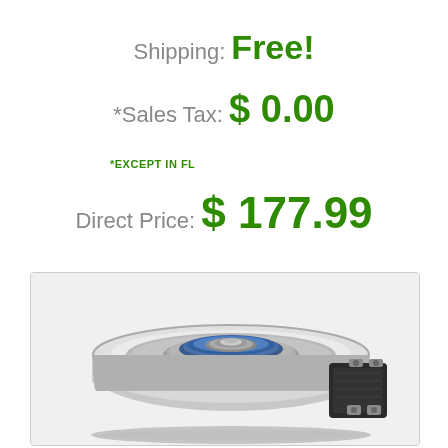Shipping: Free!
*Sales Tax: $ 0.00
*EXCEPT IN FL
Direct Price: $ 177.99
[Figure (photo): Close-up photo of an electric PTO clutch / electromagnetic clutch assembly with a silver/chrome disc, blue-sealed bearing in center, and black electro-mechanical housing with metal brackets on the right side.]